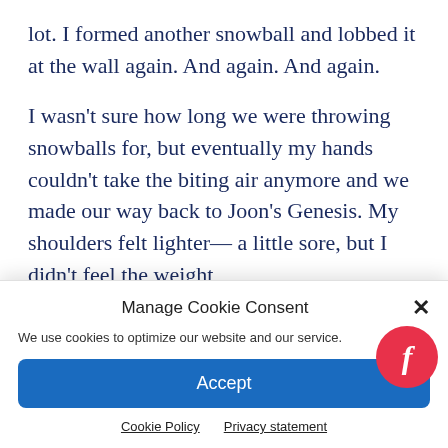lot. I formed another snowball and lobbed it at the wall again. And again. And again.
I wasn't sure how long we were throwing snowballs for, but eventually my hands couldn't take the biting air anymore and we made our way back to Joon's Genesis. My shoulders felt lighter— a little sore, but I didn't feel the weight
Manage Cookie Consent
We use cookies to optimize our website and our service.
Accept
Cookie Policy   Privacy statement